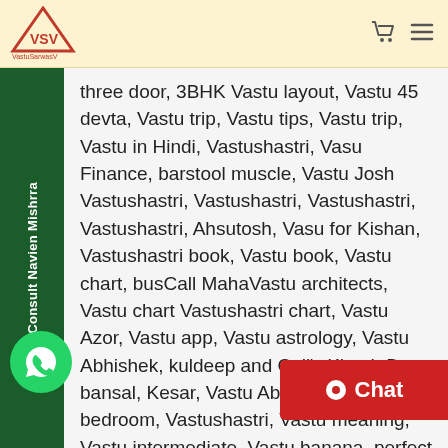VastuSarwasV logo and navigation
three door, 3BHK Vastu layout, Vastu 45 devta, Vastu trip, Vastu tips, Vastu trip, Vastu in Hindi, Vastushastri, Vasu Finance, barstool muscle, Vastu Josh Vastushastri, Vastushastri, Vastushastri, Vastushastri, Ahsutosh, Vasu for Kishan, Vastushastri book, Vastu book, Vastu chart, busCall MahaVastu architects, Vastu chart Vastushastri chart, Vastu Azor, Vastu app, Vastu astrology, Vastu Abhishek, kuldeep and Cell), Khush D bansal, Kesar, Vastu Abhishek, Vastu bedroom, Vastushastri, Vastu meaning, Vastu intermediate, Vastu banana, perfect Vastu house, a perfect Vastu office, min A Vastushastri, Hyd and Vas… High of us to consultant, Vastu boo… PDF Vastu book PDF in Hindi Vastu…